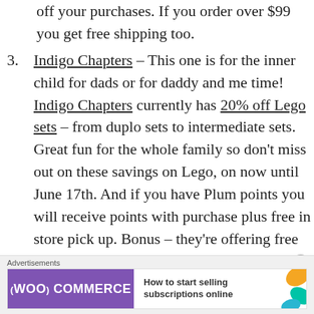off your purchases. If you order over $99 you get free shipping too.
Indigo Chapters – This one is for the inner child for dads or for daddy and me time! Indigo Chapters currently has 20% off Lego sets – from duplo sets to intermediate sets. Great fun for the whole family so don't miss out on these savings on Lego, on now until June 17th. And if you have Plum points you will receive points with purchase plus free in store pick up. Bonus – they're offering free shipping on everything ordered online, no minimum spend, this Tuesday through Thursday!
[Figure (screenshot): WooCommerce advertisement banner with purple background, teal arrow, orange and teal leaf shapes, text: 'How to start selling subscriptions online']